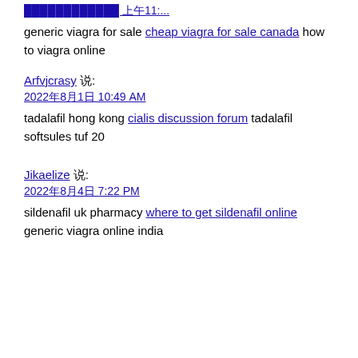[truncated link at top]
generic viagra for sale cheap viagra for sale canada how to viagra online
Arfvjcrasy 说: 2022年8月1日 10:49 AM
tadalafil hong kong cialis discussion forum tadalafil softsules tuf 20
Jikaelize 说: 2022年8月4日 7:22 PM
sildenafil uk pharmacy where to get sildenafil online generic viagra online india